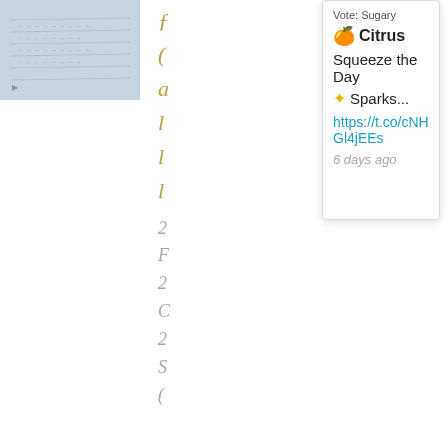[Figure (photo): Partially visible photo of lined paper or a document with faint text lines, light blue-gray tones]
partial characters in olive/gold italic font (partially cropped)
Vote: Sugary
🍊 Citrus
Squeeze the Day
✦ Sparks...
https://t.co/cNHGl4jEEs
6 days ago